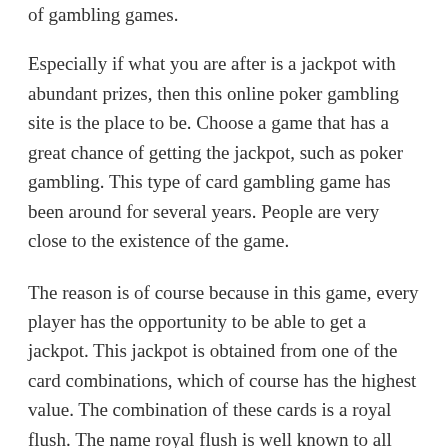of gambling games.
Especially if what you are after is a jackpot with abundant prizes, then this online poker gambling site is the place to be. Choose a game that has a great chance of getting the jackpot, such as poker gambling. This type of card gambling game has been around for several years. People are very close to the existence of the game.
The reason is of course because in this game, every player has the opportunity to be able to get a jackpot. This jackpot is obtained from one of the card combinations, which of course has the highest value. The combination of these cards is a royal flush. The name royal flush is well known to all idn poker android gambling lovers.
There is not a single person who has never tried to get the prize. Even so, only a few people managed to get it. The